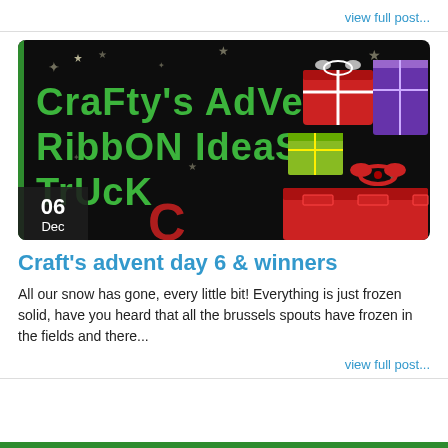view full post...
[Figure (photo): Photo showing 'Crafty's Advent Ribbon Ideas Truck' sign in green text on black background with stars, alongside wrapped Christmas gifts and presents stacked together. A date badge shows '06 Dec' in the bottom left corner.]
Craft's advent day 6 & winners
All our snow has gone, every little bit! Everything is just frozen solid, have you heard that all the brussels spouts have frozen in the fields and there...
view full post...